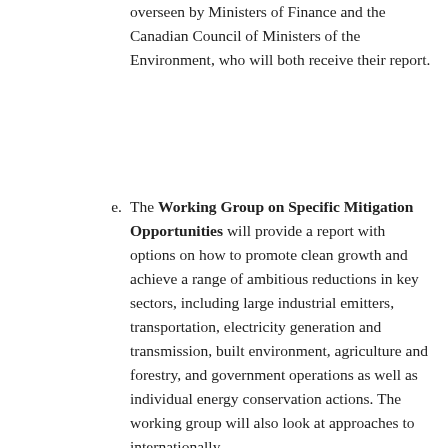overseen by Ministers of Finance and the Canadian Council of Ministers of the Environment, who will both receive their report.
e. The Working Group on Specific Mitigation Opportunities will provide a report with options on how to promote clean growth and achieve a range of ambitious reductions in key sectors, including large industrial emitters, transportation, electricity generation and transmission, built environment, agriculture and forestry, and government operations as well as individual energy conservation actions. The working group will also look at approaches to internationally